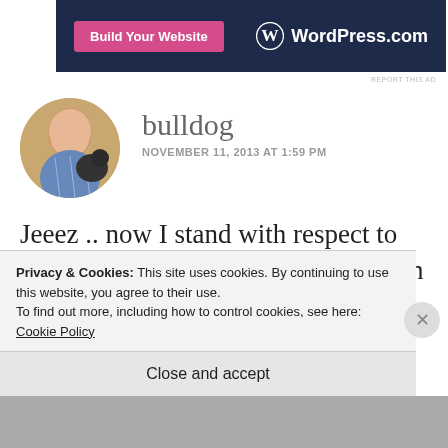[Figure (screenshot): WordPress.com advertisement banner with pink 'Build Your Website' button on dark navy background and WordPress.com logo in white]
REPORT THIS AD
[Figure (photo): Circular avatar photo of an older bald man in a plaid shirt with a dog]
bulldog
NOVEMBER 11, 2013 AT 1:59 PM
Jeeez .. now I stand with respect to you and Mom... that does not look an easy place to hike... but Kudos to you and again I just love the photos you
Privacy & Cookies: This site uses cookies. By continuing to use this website, you agree to their use.
To find out more, including how to control cookies, see here: Cookie Policy
Close and accept